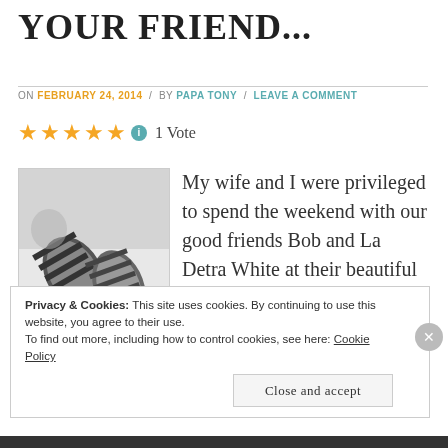YOUR FRIEND...
ON FEBRUARY 24, 2014 / BY PAPA TONY / LEAVE A COMMENT
★★★★★ ℹ 1 Vote
[Figure (photo): Black and white photo of feet wearing striped socks]
My wife and I were privileged to spend the weekend with our good friends Bob and La Detra White at their beautiful home in North Decatur.
Privacy & Cookies: This site uses cookies. By continuing to use this website, you agree to their use.
To find out more, including how to control cookies, see here: Cookie Policy
Close and accept